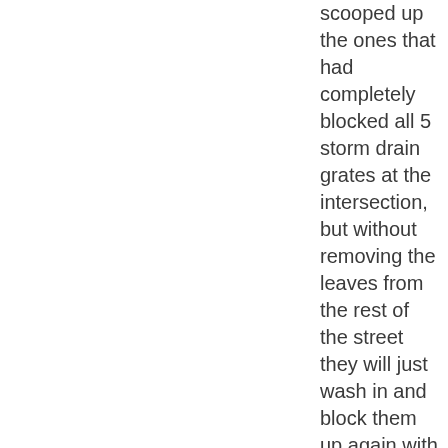scooped up the ones that had completely blocked all 5 storm drain grates at the intersection, but without removing the leaves from the rest of the street they will just wash in and block them up again with the next rainstorm. Last time they were blocked was in the spring